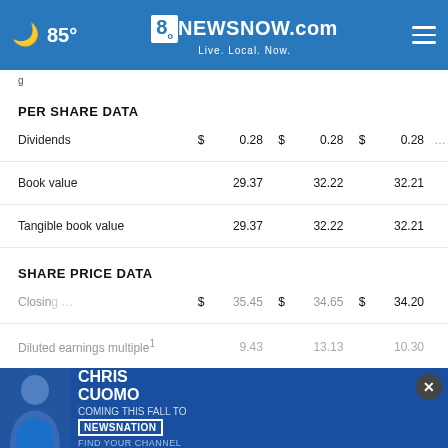85° | 8NewsNow.com Live. Local. Now.
g
PER SHARE DATA
|  |  |  |  |  |  |
| --- | --- | --- | --- | --- | --- |
| Dividends | $ | 0.28 | $ | 0.28 | $ | 0.28 |
| Book value |  | 29.37 |  | 32.22 |  | 32.21 |
| Tangible book value |  | 29.37 |  | 32.22 |  | 32.21 |
SHARE PRICE DATA
|  |  |  |  |  |  |
| --- | --- | --- | --- | --- | --- |
| Closing ... | $ | 35.45 | $ | 34.65 | $ | 34.20 |
| Diluted earnings multiple(1) |  | 9.43 |  | 13.13 |  | 10.30 |
[Figure (other): Advertisement banner: Chris Cuomo Coming This Fall to NewsNation - Find Your Channel]